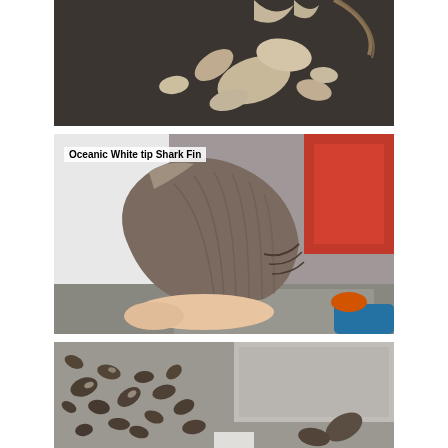[Figure (photo): Overhead view of dried shark fins scattered on a dark floor surface, some fins visible as pale beige/tan coloured, with rope visible at top right.]
[Figure (photo): Close-up of a large shark fin being held by a person's hand, showing the broad rounded fin with fibrous trailing edge. Label reads 'Oceanic White tip Shark Fin'. Red door/wall and grey floor visible in background.]
[Figure (photo): Overhead view of many small dried shark fins scattered on a grey surface, darker and more numerous than the top photo, alongside what appears to be a grey bag or tarpaulin.]